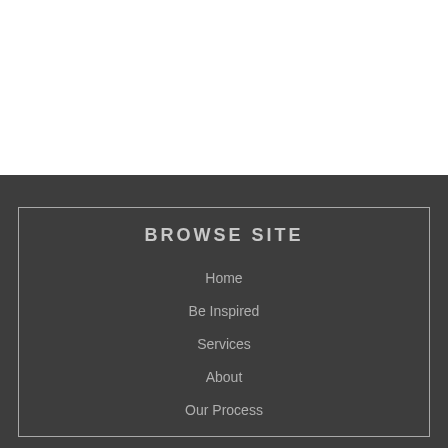BROWSE SITE
Home
Be Inspired
Services
About
Our Process